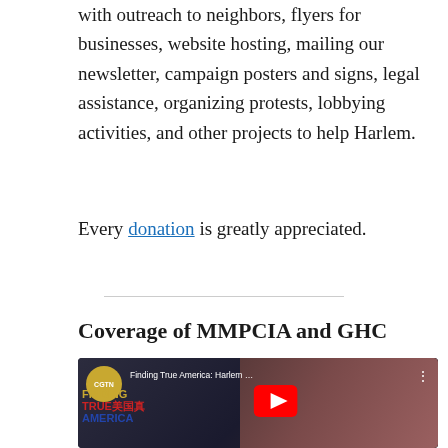with outreach to neighbors, flyers for businesses, website hosting, mailing our newsletter, campaign posters and signs, legal assistance, organizing protests, lobbying activities, and other projects to help Harlem.
Every donation is greatly appreciated.
Coverage of MMPCIA and GHC
[Figure (screenshot): YouTube video thumbnail for CGTN 'Finding True America: Harlem…' showing a woman being interviewed with 'FINDING TRUE AMERICA' text overlay and a YouTube play button]